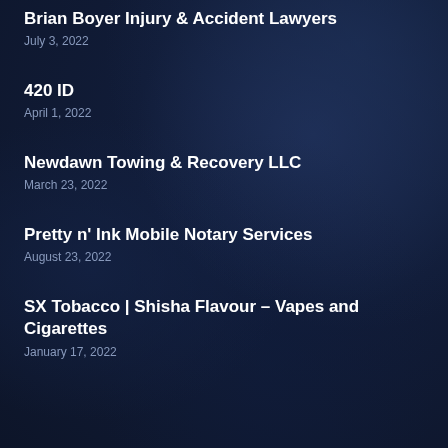Brian Boyer Injury & Accident Lawyers
July 3, 2022
420 ID
April 1, 2022
Newdawn Towing & Recovery LLC
March 23, 2022
Pretty n' Ink Mobile Notary Services
August 23, 2022
SX Tobacco | Shisha Flavour – Vapes and Cigarettes
January 17, 2022